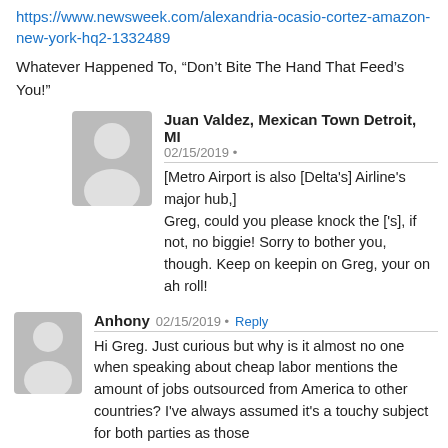https://www.newsweek.com/alexandria-ocasio-cortez-amazon-new-york-hq2-1332489
Whatever Happened To, “Don’t Bite The Hand That Feed’s You!”
Juan Valdez, Mexican Town Detroit, MI  02/15/2019
[Metro Airport is also [Delta's] Airline's major hub,]
Greg, could you please knock the ['s], if not, no biggie! Sorry to bother you, though. Keep on keepin on Greg, your on ah roll!
Anhony  02/15/2019  Reply
Hi Greg. Just curious but why is it almost no one when speaking about cheap labor mentions the amount of jobs outsourced from America to other countries? I've always assumed it's a touchy subject for both parties as those